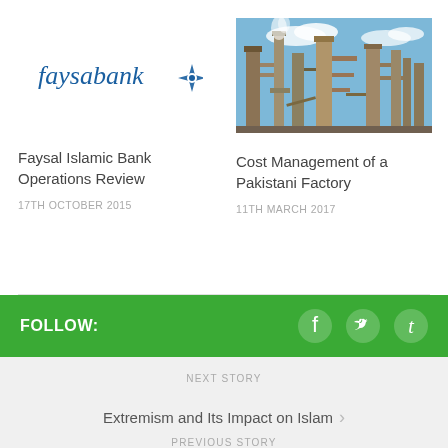[Figure (logo): Faysal Bank logo with text 'faysabank' and a blue geometric star/diamond icon]
[Figure (photo): Industrial factory/oil refinery with pipes and towers against a blue sky]
Faysal Islamic Bank Operations Review
17TH OCTOBER 2015
Cost Management of a Pakistani Factory
11TH MARCH 2017
FOLLOW:
NEXT STORY
Extremism and Its Impact on Islam
PREVIOUS STORY